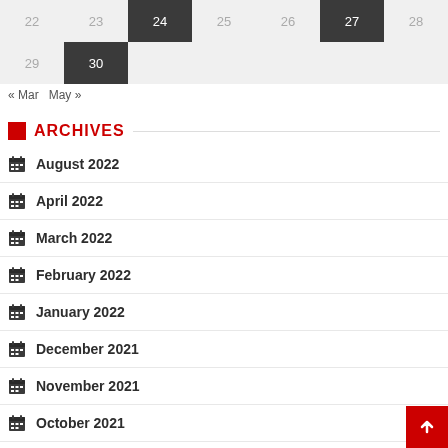[Figure (other): Calendar grid showing dates 22-30 with dark highlighted cells on 24, 27, and 30]
« Mar   May »
ARCHIVES
August 2022
April 2022
March 2022
February 2022
January 2022
December 2021
November 2021
October 2021